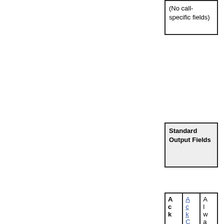| (No call-specific fields) |
| Standard Output Fields |
| Ack | AckCodeType | Always |